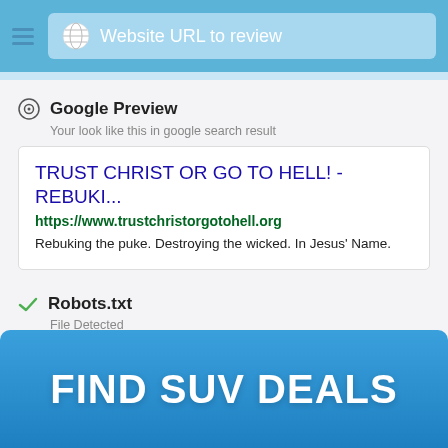Website URL to review
Google Preview
Your look like this in google search result
TRUST CHRIST OR GO TO HELL! - REBUKI...
https://www.trustchristorgotohell.org
Rebuking the puke. Destroying the wicked. In Jesus' Name.
Robots.txt
File Detected
http://trustchristorgotohell.org/robots.txt
FIND SUV DEALS